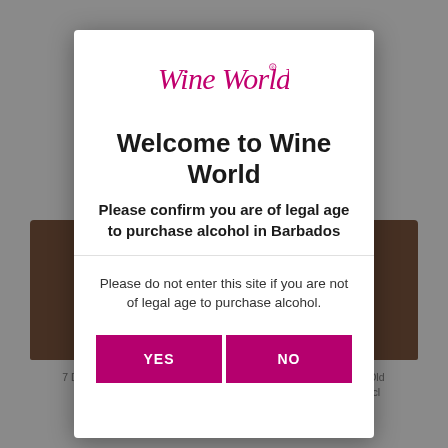[Figure (screenshot): Background of a wine shop website showing product cards and bottle images, grayed out behind a modal dialog.]
[Figure (logo): Wine World logo in cursive pink/magenta text]
Welcome to Wine World
Please confirm you are of legal age to purchase alcohol in Barbados
Please do not enter this site if you are not of legal age to purchase alcohol.
YES
NO